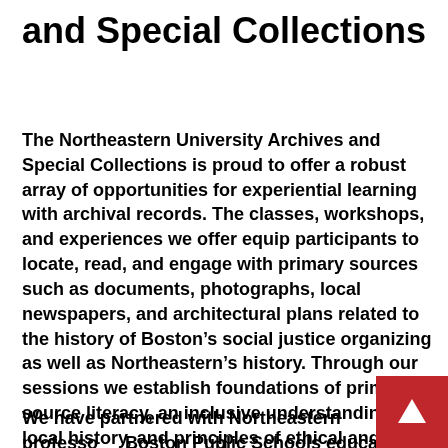and Special Collections
The Northeastern University Archives and Special Collections is proud to offer a robust array of opportunities for experiential learning with archival records. The classes, workshops, and experiences we offer equip participants to locate, read, and engage with primary sources such as documents, photographs, local newspapers, and architectural plans related to the history of Boston's social justice organizing as well as Northeastern's history. Through our sessions we establish foundations of primary source literacy, an inclusive understanding of local history, and principles of ethical and data inflected storytelling.
We have partnered with Northeastern professors, Boston Public Schools educators, National Parks